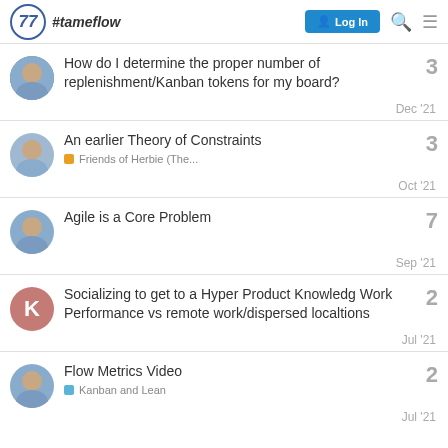#tameflow — Log In
How do I determine the proper number of replenishment/Kanban tokens for my board? — 3 — Dec '21
An earlier Theory of Constraints — Friends of Herbie (The... — 3 — Oct '21
Agile is a Core Problem — 7 — Sep '21
Socializing to get to a Hyper Product Knowledg Work Performance vs remote work/dispersed localtions — 2 — Jul '21
Flow Metrics Video — Kanban and Lean — 2 — Jul '21